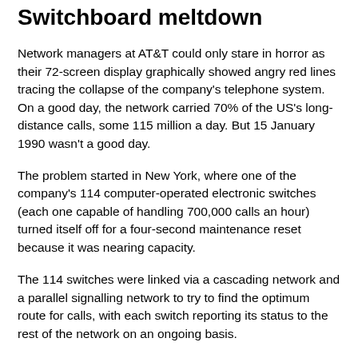Switchboard meltdown
Network managers at AT&T could only stare in horror as their 72-screen display graphically showed angry red lines tracing the collapse of the company's telephone system. On a good day, the network carried 70% of the US's long-distance calls, some 115 million a day. But 15 January 1990 wasn't a good day.
The problem started in New York, where one of the company's 114 computer-operated electronic switches (each one capable of handling 700,000 calls an hour) turned itself off for a four-second maintenance reset because it was nearing capacity.
The 114 switches were linked via a cascading network and a parallel signalling network to try to find the optimum route for calls, with each switch reporting its status to the rest of the network on an ongoing basis.
When the overburdened New York node switched itself back on after the reset, it sent out a signal that it was back online and ready to receive calls. This should have restored the status quo, but a software defect meant a second identical signal was sent less than ten milliseconds after the first, arriving before the initial signal had been processed.